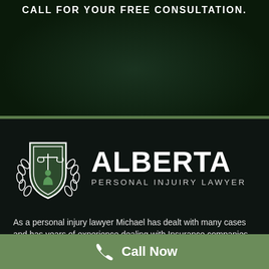CALL FOR YOUR FREE CONSULTATION.
[Figure (logo): Alberta Personal Injury Lawyer shield logo with scales of justice and laurel wreath, next to bold text reading ALBERTA PERSONAL INJURY LAWYER]
As a personal injury lawyer Michael has dealt with many cases and has years of experience dealing with Insurance companies. Michael is
Call Now